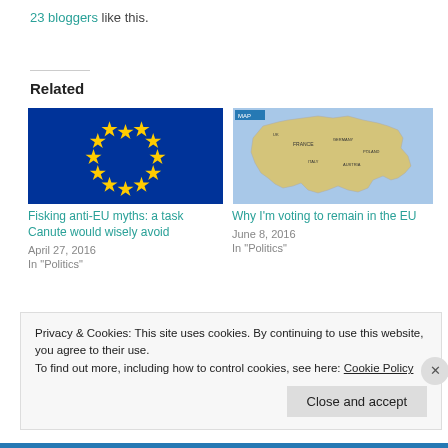23 bloggers like this.
Related
[Figure (illustration): EU flag with blue background and circle of 12 yellow stars]
Fisking anti-EU myths: a task Canute would wisely avoid
April 27, 2016
In "Politics"
[Figure (map): Map of Europe showing country boundaries and labels]
Why I'm voting to remain in the EU
June 8, 2016
In "Politics"
Privacy & Cookies: This site uses cookies. By continuing to use this website, you agree to their use.
To find out more, including how to control cookies, see here: Cookie Policy
Close and accept